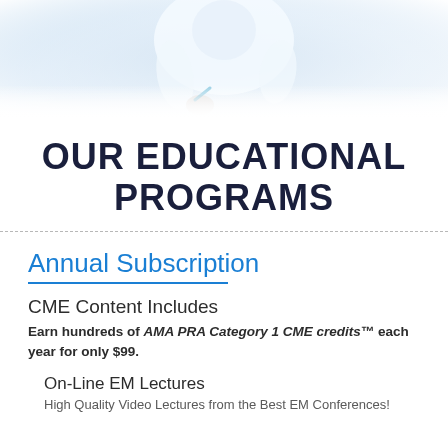[Figure (photo): Photo of a doctor in white coat, partially visible, light blue/white tones, cropped view showing torso and hands]
OUR EDUCATIONAL PROGRAMS
Annual Subscription
CME Content Includes
Earn hundreds of AMA PRA Category 1 CME credits™ each year for only $99.
On-Line EM Lectures
High Quality Video Lectures from the Best EM Conferences!